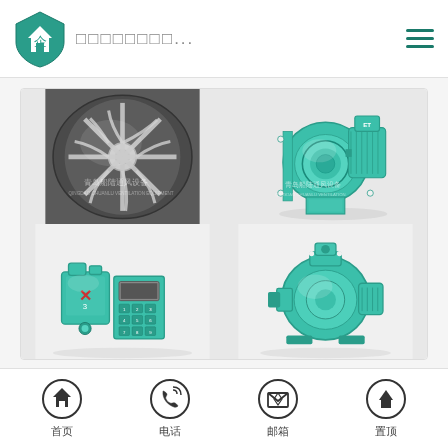企业 □□□□□□□□...
[Figure (photo): Close-up photo of a stainless steel centrifugal fan impeller/blower wheel inside a cylindrical housing, with watermark text: 青岛船陆通风设备 QINGDAO CHUANLU VENTILATION EQUIPMENT]
[Figure (photo): Photo of a teal/turquoise centrifugal blower fan unit with electric motor attached, watermark: 青岛船陆通风设备 QINGDAO CHUANLU VENTILATION]
[Figure (photo): Photo of teal/turquoise industrial electrical junction boxes and control panel equipment]
[Figure (photo): Photo of a teal/turquoise centrifugal pump or blower unit]
首页   电话   邮箱   置顶